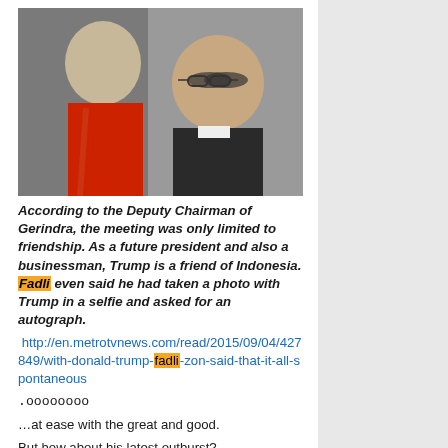[Figure (photo): Photo of two men posing together for a selfie; one wearing a red striped tie, the other wearing glasses and a dark suit jacket]
According to the Deputy Chairman of Gerindra, the meeting was only limited to friendship. As a future president and also a businessman, Trump is a friend of Indonesia. Fadli even said he had taken a photo with Trump in a selfie and asked for an autograph.
http://en.metrotvnews.com/read/2015/09/04/427849/with-donald-trump-fadli-zon-said-that-it-all-spontaneous
.oooooooo
…at ease with the great and good.
But how about his latest outburst?
Fadli Zon said that the Special Detachment or Densus 88 Anti-terror Police should be disbanded.